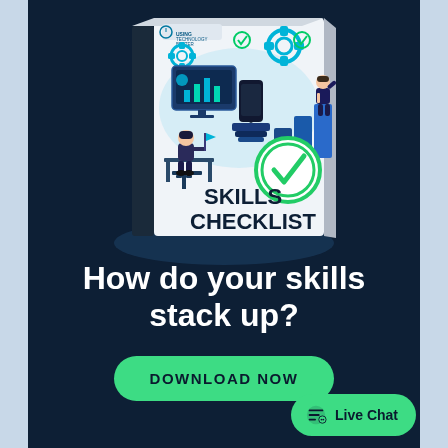[Figure (illustration): 3D book cover titled 'Skills Checklist' with green checkmark circle, showing illustrated people working with technology, gears, and charts. Logo 'Using Technology Better' at top. Book is positioned on dark navy background with light glow effect.]
How do your skills stack up?
DOWNLOAD NOW
Live Chat